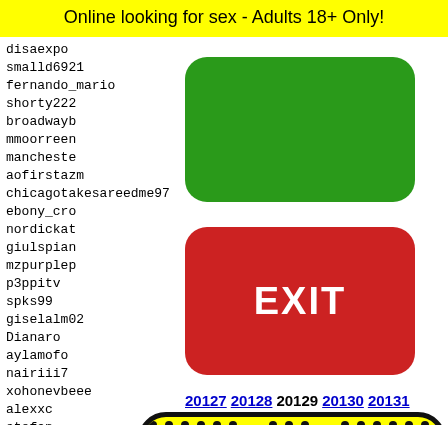Online looking for sex - Adults 18+ Only!
disaexpo
smalld6921
fernando_mario
shorty222
broadwayb
mmoorreen
mancheste
aofirstazm
chicagotakesareedme97
ebony_cro
nordickat
giulspian
mzpurplep
p3ppitv
spks99
giselalm02
Dianaro
aylamofo
nairiii7
xohonevbeee
alexxc
stefan
sexyli
violar
Lil.ka
kathva
[Figure (other): Green rounded rectangle button (no label)]
[Figure (other): Red rounded rectangle EXIT button]
20127 20128 20129 20130 20131
[Figure (illustration): Snapchat ghost logo on yellow background with black rounded rectangle border, showing dot pattern and ghost face]